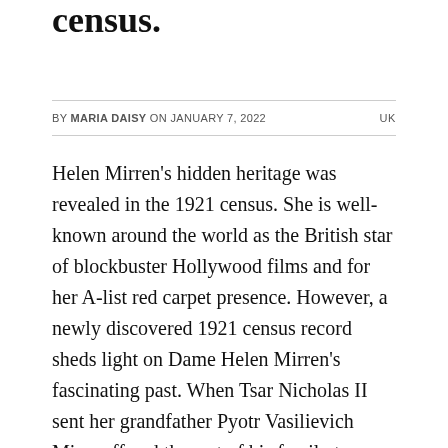was revealed in the 1921 census.
BY MARIA DAISY ON JANUARY 7, 2022    UK
Helen Mirren's hidden heritage was revealed in the 1921 census. She is well-known around the world as the British star of blockbuster Hollywood films and for her A-list red carpet presence. However, a newly discovered 1921 census record sheds light on Dame Helen Mirren's fascinating past. When Tsar Nicholas II sent her grandfather Pyotr Vasilievich Mironoff and the rest of his family to England in 1915, he brought his son Vasily Petrovich Mironoff – Dame Helen's father –